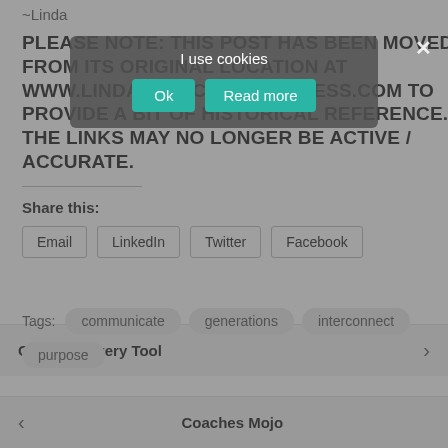~Linda
I use cookies
Ok
Read more
PLEASE NOTE: THIS POST HAS BEEN MOVED FROM ITS ORIGINAL LOCATION AT WWW.LINDADELUCA.WORDPRESS.COM TO PROVIDE A BIT OF HISTORICAL REFERENCE. THE LINKS MAY NO LONGER BE ACTIVE / ACCURATE.
Share this:
Email
LinkedIn
Twitter
Facebook
Tags:  communicate  generations  interconnect  purpose
Goal Discovery Tool
Coaches Mojo